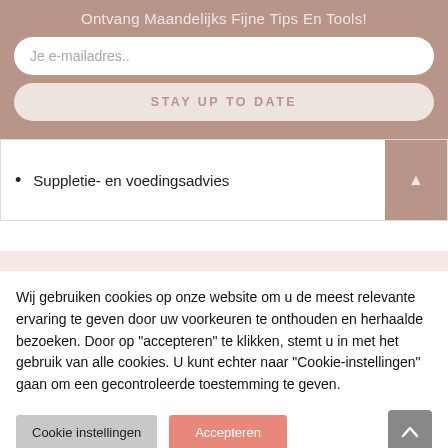Ontvang Maandelijks Fijne Tips En Tools!
Je e-mailadres..
STAY UP TO DATE
Suppletie- en voedingsadvies
Wij gebruiken cookies op onze website om u de meest relevante ervaring te geven door uw voorkeuren te onthouden en herhaalde bezoeken. Door op "accepteren" te klikken, stemt u in met het gebruik van alle cookies. U kunt echter naar "Cookie-instellingen" gaan om een gecontroleerde toestemming te geven.
Cookie instellingen
Accepteren